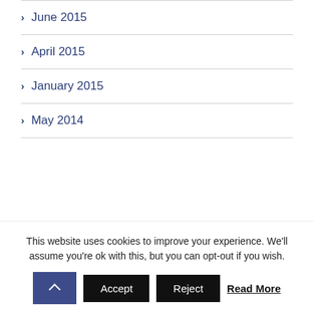June 2015
April 2015
January 2015
May 2014
This website uses cookies to improve your experience. We'll assume you're ok with this, but you can opt-out if you wish.